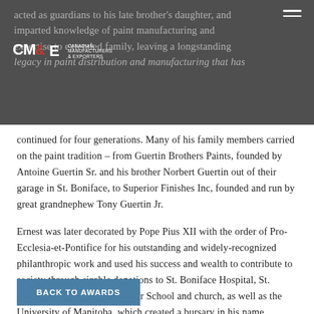acted as guardians to his late brother's daughter, and imparted knowledge of paint manufacturing and expertise to extended family, leaving a longstanding legacy in paint distribution and manufacturing that has
[Figure (logo): CM&E Canadian Manufacturers & Exporters logo in white and red on dark overlay]
continued for four generations. Many of his family members carried on the paint tradition – from Guertin Brothers Paints, founded by Antoine Guertin Sr. and his brother Norbert Guertin out of their garage in St. Boniface, to Superior Finishes Inc, founded and run by great grandnephew Tony Guertin Jr.
Ernest was later decorated by Pope Pius XII with the order of Pro-Ecclesia-et-Pontifice for his outstanding and widely-recognized philanthropic work and used his success and wealth to contribute to society through sizable donations to St. Boniface Hospital, St. Boniface College, Sacré-Coeur School and church, as well as the University of Manitoba, which created a bursary in his name.
BACK TO AWARDS